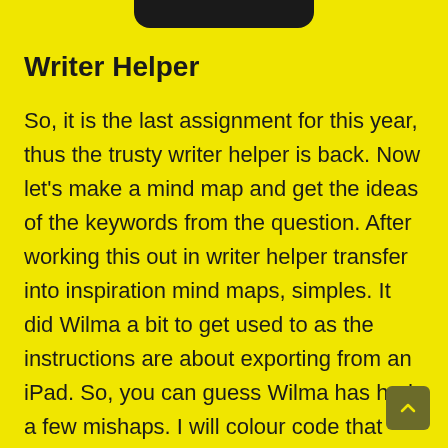Writer Helper
So, it is the last assignment for this year, thus the trusty writer helper is back. Now let's make a mind map and get the ideas of the keywords from the question. After working this out in writer helper transfer into inspiration mind maps, simples. It did Wilma a bit to get used to as the instructions are about exporting from an iPad. So, you can guess Wilma has had a few mishaps. I will colour code that part of